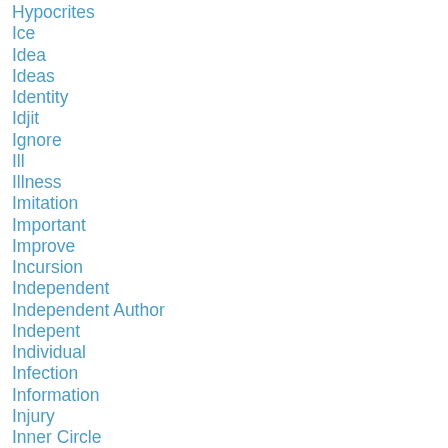Hypocrites
Ice
Idea
Ideas
Identity
Idjit
Ignore
Ill
Illness
Imitation
Important
Improve
Incursion
Independent
Independent Author
Indepent
Individual
Infection
Information
Injury
Inner Circle